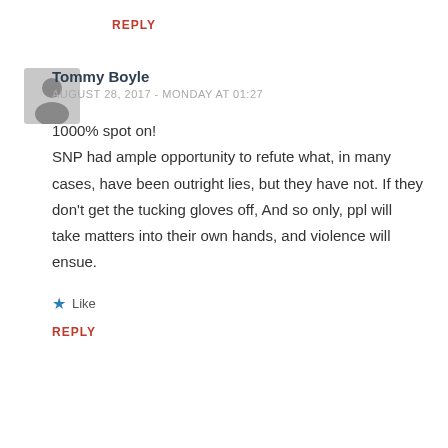REPLY
[Figure (illustration): Generic user avatar icon — grey silhouette of a person on light grey background]
Tommy Boyle
AUGUST 28, 2017 - MONDAY AT 01:27
1000% spot on!
SNP had ample opportunity to refute what, in many cases, have been outright lies, but they have not. If they don't get the tucking gloves off, And so only, ppl will take matters into their own hands, and violence will ensue.
★ Like
REPLY